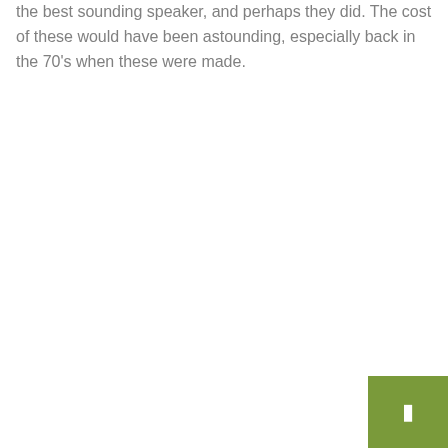the best sounding speaker, and perhaps they did. The cost of these would have been astounding, especially back in the 70's when these were made.